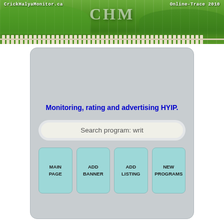[Figure (illustration): Website banner header for CrickHalyaMonitor.ca with green landscape hills, white fence, and CHM logo text. Left corner shows CrickHalyaMonitor.ca text, right corner shows Online-Trace 2010.]
Monitoring, rating and advertising HYIP.
Search program: writ
MAIN PAGE
ADD BANNER
ADD LISTING
NEW PROGRAMS